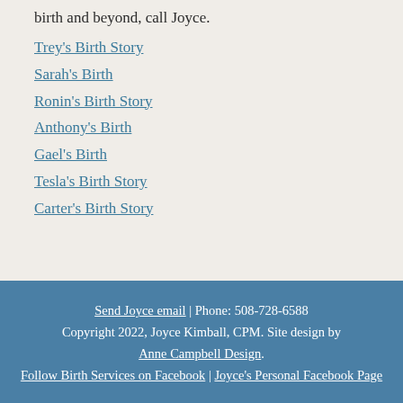birth and beyond, call Joyce.
Trey's Birth Story
Sarah's Birth
Ronin's Birth Story
Anthony's Birth
Gael's Birth
Tesla's Birth Story
Carter's Birth Story
Send Joyce email | Phone: 508-728-6588 Copyright 2022, Joyce Kimball, CPM. Site design by Anne Campbell Design. Follow Birth Services on Facebook | Joyce's Personal Facebook Page